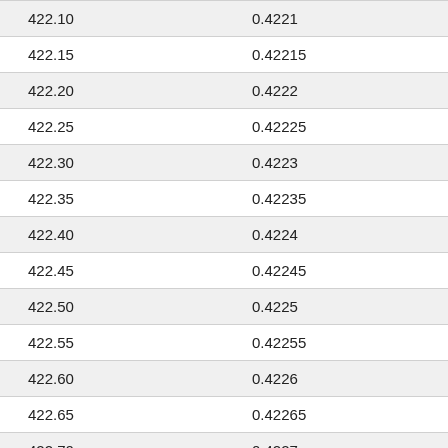| 422.10 | 0.4221 |
| 422.15 | 0.42215 |
| 422.20 | 0.4222 |
| 422.25 | 0.42225 |
| 422.30 | 0.4223 |
| 422.35 | 0.42235 |
| 422.40 | 0.4224 |
| 422.45 | 0.42245 |
| 422.50 | 0.4225 |
| 422.55 | 0.42255 |
| 422.60 | 0.4226 |
| 422.65 | 0.42265 |
| 422.70 | 0.4227 |